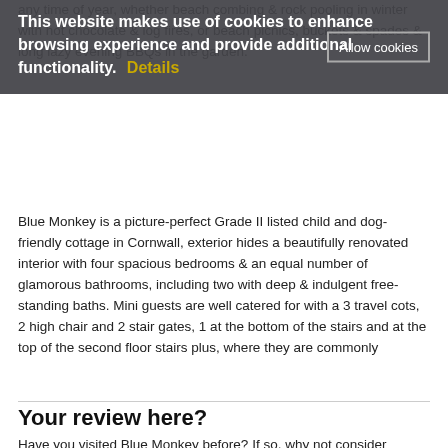any time of year, whether beach combing & rock pooling in winter with hot chocolate & log fires, or beach picnics, buckets & spades & long lazy evening BBQs in the garden.
This website makes use of cookies to enhance browsing experience and provide additional functionality.  Details  Allow cookies
Blue Monkey is a picture-perfect Grade II listed child and dog-friendly cottage in Cornwall, exterior hides a beautifully renovated interior with four spacious bedrooms & an equal number of glamorous bathrooms, including two with deep & indulgent free-standing baths. Mini guests are well catered for with a 3 travel cots, 2 high chair and 2 stair gates, 1 at the bottom of the stairs and at the top of the second floor stairs plus, where they are commonly
Your review here?
Have you visited Blue Monkey before? If so, why not consider leaving a review?
Write A Review